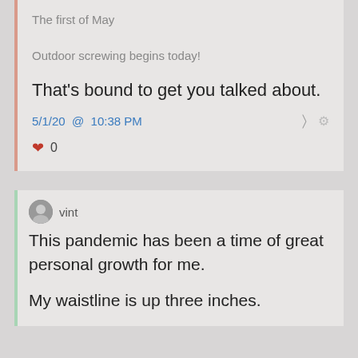The first of May

Outdoor screwing begins today!
That's bound to get you talked about.
5/1/20 @ 10:38 PM
♥ 0
vint
This pandemic has been a time of great personal growth for me.
My waistline is up three inches.